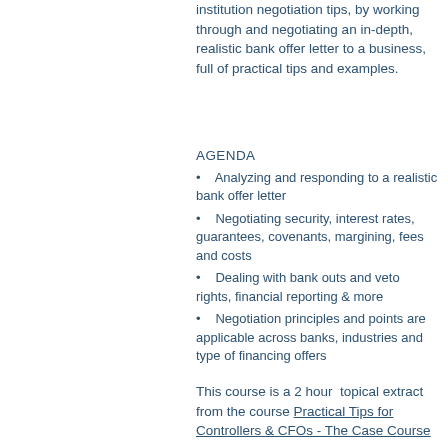institution negotiation tips, by working through and negotiating an in-depth, realistic bank offer letter to a business, full of practical tips and examples.
AGENDA
Analyzing and responding to a realistic bank offer letter
Negotiating security, interest rates, guarantees, covenants, margining, fees and costs
Dealing with bank outs and veto rights, financial reporting & more
Negotiation principles and points are applicable across banks, industries and type of financing offers
This course is a 2 hour  topical extract from the course Practical Tips for Controllers & CFOs - The Case Course